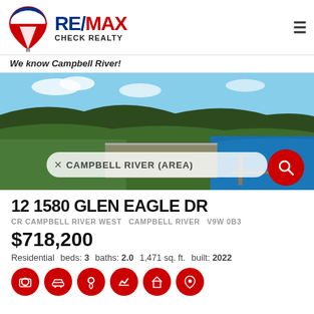[Figure (logo): RE/MAX balloon logo with RE/MAX Check Realty text]
We know Campbell River!
[Figure (photo): Aerial photo of Campbell River area with search bar overlay showing 'CAMPBELL RIVER (AREA)' and a red search button]
12 1580 GLEN EAGLE DR
CR CAMPBELL RIVER WEST   CAMPBELL RIVER   V9W 0B3
$718,200
Residential  beds: 3  baths: 2.0  1,471 sq. ft.  built: 2022
[Figure (infographic): Row of six red circular icons representing property features]